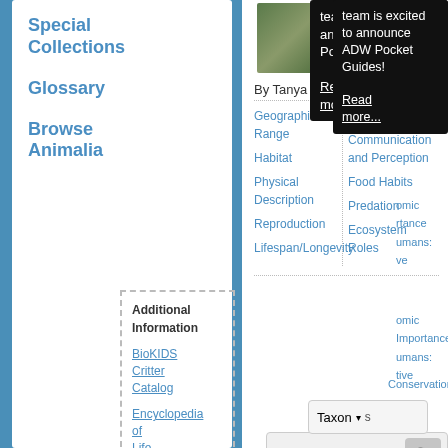[Figure (screenshot): Screenshot of Animal Diversity Web page showing navigation sidebar with Special Collections, Glossary, Browse Animalia links, content navigation links (Geographic Range, Habitat, etc.), a popup tooltip announcing ADW Pocket Guides, search bar, taxon dropdown, and Geographic Range section about whitetail deer.]
Special Collections
Glossary
Browse Animalia
By Tanya Dewey and
Geographic Range
Habitat
Physical Description
Reproduction
Lifespan/Longevity
Behavior
Communication and Perception
Food Habits
Predation
Ecosystem Roles
team is excited to announce ADW Pocket Guides! Read more...
Additional Information
BioKIDS Critter Catalog
Encyclopedia of Life
Geographic Range
Whitetail deer inhabit most of southern Canada and all of the mainland United States
Economic Importance
Economic Importance for Humans:
Conservation
Contributors
References
Explore Data @
Quaardvark
Search Guide